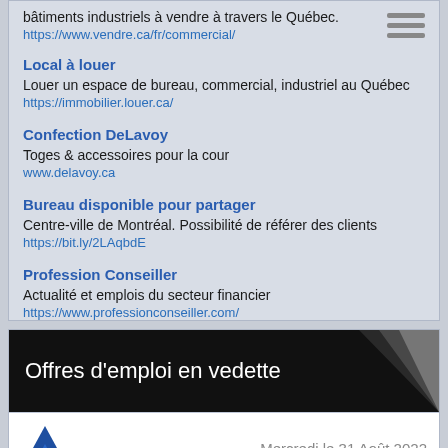bâtiments industriels à vendre à travers le Québec.
https://www.vendre.ca/fr/commercial/
Local à louer
Louer un espace de bureau, commercial, industriel au Québec
https://immobilier.louer.ca/
Confection DeLavoy
Toges & accessoires pour la cour
www.delavoy.ca
Bureau disponible pour partager
Centre-ville de Montréal. Possibilité de référer des clients
https://bit.ly/2LAqbdE
Profession Conseiller
Actualité et emplois du secteur financier
https://www.professionconseiller.com/
Offres d'emploi en vedette
Mercredi le 31 Août 2022